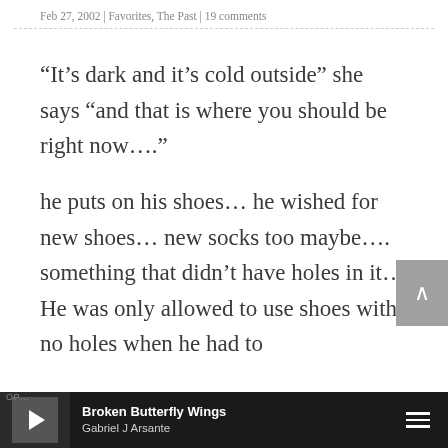Feb 27, 2002 | Favorites, The Past | 19 comments
“It’s dark and it’s cold outside” she says “and that is where you should be right now….”
he puts on his shoes… he wished for new shoes… new socks too maybe…. something that didn’t have holes in it… He was only allowed to use shoes with no holes when he had to
Broken Butterfly Wings | Gabriel J Arsante